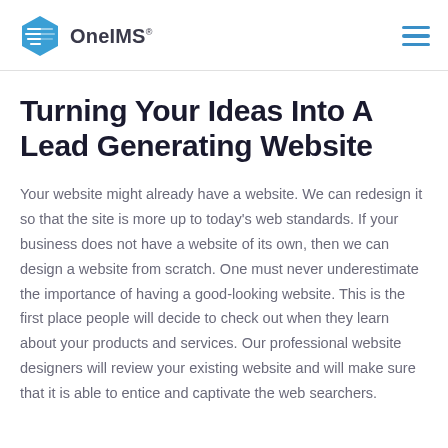OneIMS
Turning Your Ideas Into A Lead Generating Website
Your website might already have a website. We can redesign it so that the site is more up to today's web standards. If your business does not have a website of its own, then we can design a website from scratch. One must never underestimate the importance of having a good-looking website. This is the first place people will decide to check out when they learn about your products and services. Our professional website designers will review your existing website and will make sure that it is able to entice and captivate the web searchers.